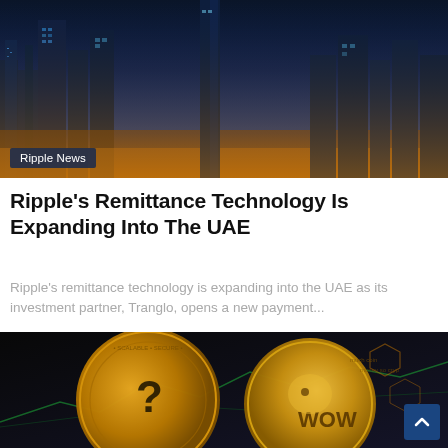[Figure (photo): Aerial night view of a city skyline with glowing blue and orange lights, high-rise buildings]
Ripple News
Ripple's Remittance Technology Is Expanding Into The UAE
Ripple's remittance technology is expanding into the UAE as its investment partner, Tranglo, opens a new payment...
[Figure (photo): Photo of two gold cryptocurrency coins: a Polkadot coin and a Dogecoin (WOW) coin against a dark background with chart-like graphics]